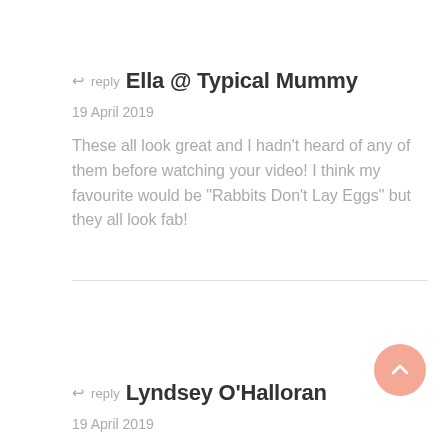↩ reply  Ella @ Typical Mummy
19 April 2019
These all look great and I hadn't heard of any of them before watching your video! I think my favourite would be "Rabbits Don't Lay Eggs" but they all look fab!
↩ reply  Lyndsey O'Halloran
19 April 2019